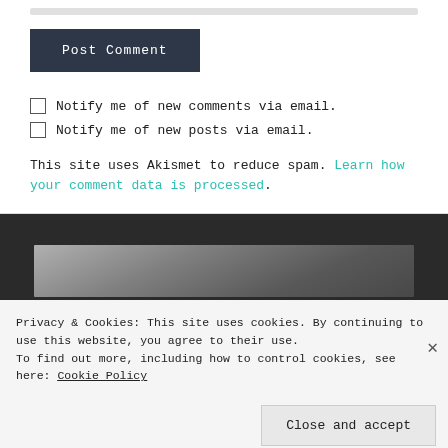[Figure (other): Input field bar at top of comment form]
Post Comment
Notify me of new comments via email.
Notify me of new posts via email.
This site uses Akismet to reduce spam. Learn how your comment data is processed.
[Figure (photo): Dark textured wood grain image, grayscale]
Privacy & Cookies: This site uses cookies. By continuing to use this website, you agree to their use.
To find out more, including how to control cookies, see here: Cookie Policy
Close and accept